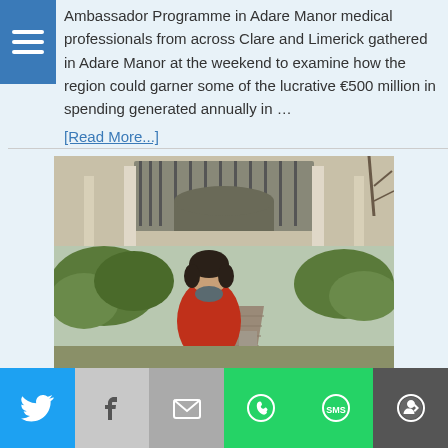Ambassador Programme in Adare Manor medical professionals from across Clare and Limerick gathered in Adare Manor at the weekend to examine how the region could garner some of the lucrative €500 million in spending generated annually in …
[Read More...]
[Figure (photo): Woman in red coat standing outside a building with trees and a brick pathway]
Twitter | Facebook | Email | WhatsApp | SMS | More